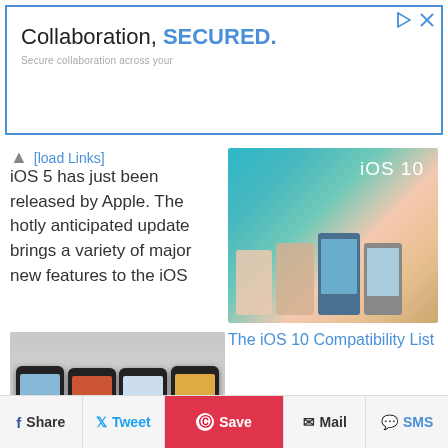[Figure (other): Advertisement banner with blue border reading 'Collaboration, SECURED.' with subtitle text]
[load Links]
iOS 5 has just been released by Apple. The hotly anticipated update brings a variety of major new features to the iOS
[Figure (photo): iOS 10 promotional image showing multiple iPhone devices with colorful backgrounds and iOS 10 logo]
The iOS 10 Compatibility List
[Figure (photo): Four iPhone 4 devices side by side showing different screens]
iOS 4 - the new iPhone/iPad Operating System
Share  Tweet  Save  Mail  SMS